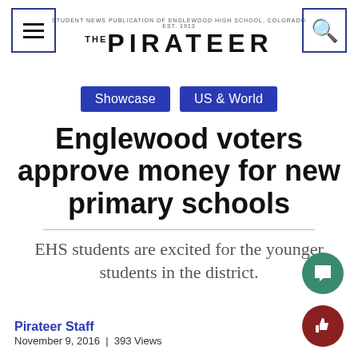STUDENT NEWS PUBLICATION OF ENGLEWOOD HIGH SCHOOL, COLORADO EST. 1913 THE PIRATEER
Showcase  US & World
Englewood voters approve money for new primary schools
EHS students are excited for the younger students in the district.
Pirateer Staff
November 9, 2016  |  393 Views